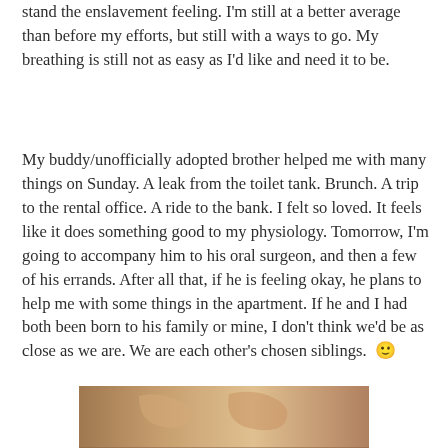stand the enslavement feeling. I'm still at a better average than before my efforts, but still with a ways to go. My breathing is still not as easy as I'd like and need it to be.
My buddy/unofficially adopted brother helped me with many things on Sunday. A leak from the toilet tank. Brunch. A trip to the rental office. A ride to the bank. I felt so loved. It feels like it does something good to my physiology. Tomorrow, I'm going to accompany him to his oral surgeon, and then a few of his errands. After all that, if he is feeling okay, he plans to help me with some things in the apartment. If he and I had both been born to his family or mine, I don't think we'd be as close as we are. We are each other's chosen siblings. 🙂
[Figure (photo): Partial photo visible at bottom of page, appears to show a person, partially cropped]